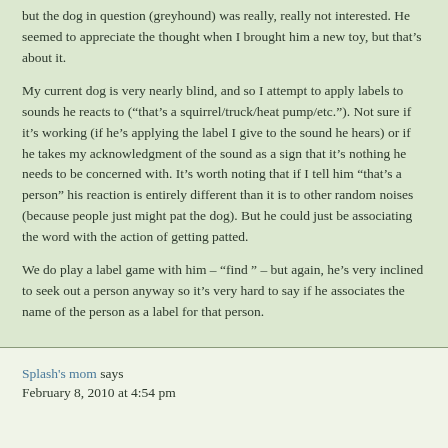but the dog in question (greyhound) was really, really not interested. He seemed to appreciate the thought when I brought him a new toy, but that's about it.
My current dog is very nearly blind, and so I attempt to apply labels to sounds he reacts to (“that’s a squirrel/truck/heat pump/etc.”). Not sure if it’s working (if he’s applying the label I give to the sound he hears) or if he takes my acknowledgment of the sound as a sign that it’s nothing he needs to be concerned with. It’s worth noting that if I tell him “that’s a person” his reaction is entirely different than it is to other random noises (because people just might pat the dog). But he could just be associating the word with the action of getting patted.
We do play a label game with him – “find ” – but again, he’s very inclined to seek out a person anyway so it’s very hard to say if he associates the name of the person as a label for that person.
Splash's mom says
February 8, 2010 at 4:54 pm